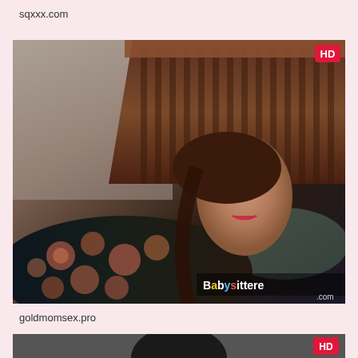sqxxx.com
[Figure (photo): Screenshot of a video thumbnail showing a woman lying on a bed with floral clothing, wooden headboard, HD badge in top-right corner, Babysittered watermark in bottom-right]
goldmomsex.pro
[Figure (photo): Partial screenshot of a second video thumbnail, HD badge visible in bottom-right corner, partially cut off]